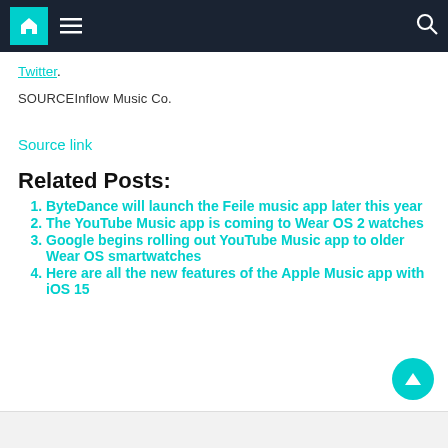Navigation bar with home, menu, and search icons
Twitter.
SOURCEInflow Music Co.
Source link
Related Posts:
ByteDance will launch the Feile music app later this year
The YouTube Music app is coming to Wear OS 2 watches
Google begins rolling out YouTube Music app to older Wear OS smartwatches
Here are all the new features of the Apple Music app with iOS 15